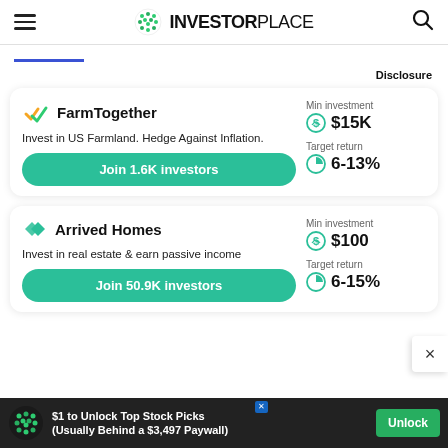INVESTORPLACE
Disclosure
[Figure (infographic): FarmTogether investment card: logo (yellow/green checkmark), title FarmTogether, description 'Invest in US Farmland. Hedge Against Inflation.', button 'Join 1.6K investors', Min investment $15K, Target return 6-13%]
[Figure (infographic): Arrived Homes investment card: logo (teal geometric), title 'Arrived Homes', description 'Invest in real estate & earn passive income', button 'Join 50.9K investors', Min investment $100, Target return 6-15%]
$1 to Unlock Top Stock Picks (Usually Behind a $3,497 Paywall)
Unlock